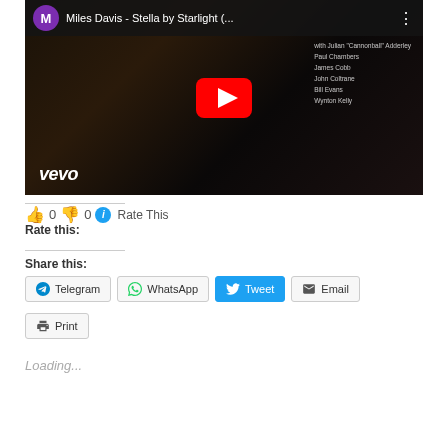[Figure (screenshot): YouTube video thumbnail for Miles Davis - Stella by Starlight, showing a dark jazz album cover with a man playing trumpet, a large red YouTube play button in the center, Vevo logo in the bottom left, channel avatar (purple M), and video title in the top bar.]
👍 0 👎 0 ℹ Rate This
Rate this:
Share this:
Telegram
WhatsApp
Tweet
Email
Print
Loading...